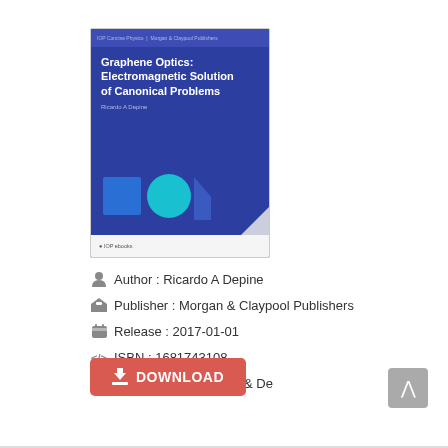[Figure (illustration): Book cover for 'Graphene Optics: Electromagnetic Solution of Canonical Problems' by Ricardo A Depine, published by IOP ebooks. Dark blue cover with geometric shapes (square, circle, triangle) at the bottom.]
Author : Ricardo A Depine
Publisher : Morgan & Claypool Publishers
Release : 2017-01-01
ISBN : 1681743108
Language : En, Es, Fr & De
DOWNLOAD